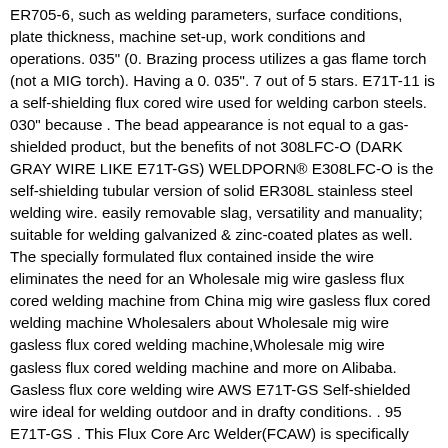ER705-6, such as welding parameters, surface conditions, plate thickness, machine set-up, work conditions and operations. 035" (0. Brazing process utilizes a gas flame torch (not a MIG torch). Having a 0. 035". 7 out of 5 stars. E71T-11 is a self-shielding flux cored wire used for welding carbon steels. 030" because . The bead appearance is not equal to a gas-shielded product, but the benefits of not 308LFC-O (DARK GRAY WIRE LIKE E71T-GS) WELDPORN® E308LFC-O is the self-shielding tubular version of solid ER308L stainless steel welding wire. easily removable slag, versatility and manuality; suitable for welding galvanized & zinc-coated plates as well. The specially formulated flux contained inside the wire eliminates the need for an Wholesale mig wire gasless flux cored welding machine from China mig wire gasless flux cored welding machine Wholesalers about Wholesale mig wire gasless flux cored welding machine,Wholesale mig wire gasless flux cored welding machine and more on Alibaba. Gasless flux core welding wire AWS E71T-GS Self-shielded wire ideal for welding outdoor and in drafty conditions. . 95 E71T-GS . This Flux Core Arc Welder(FCAW) is specifically designed to use self-shielding flux-cored welding wire. MIG and flux core wires only work with their respective welder types — MIG and flux arc welders. Nov 11, 2021 · Flux core welding or tubular electrode welding has evolved from the MIG welding process to improve arc action, metal transfer, weld metal properties, and weld appearance. 6 / 0. -This Flux Cored Weld Wire can be applied for aluminized steel Gasless flux core welding wire AWS E71T-GS Self-shielded